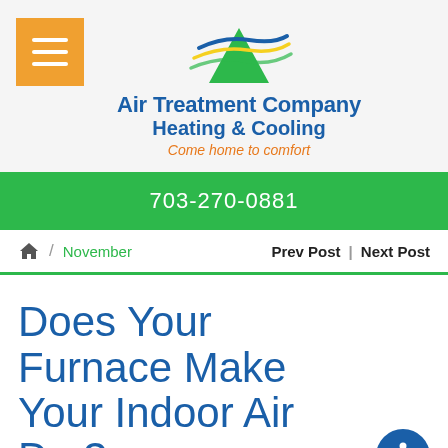[Figure (logo): Air Treatment Company Heating & Cooling logo with green wave/mountain graphic and hamburger menu button]
703-270-0881
Home / November    Prev Post | Next Post
Does Your Furnace Make Your Indoor Air Dry?